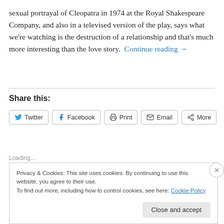sexual portrayal of Cleopatra in 1974 at the Royal Shakespeare Company, and also in a televised version of the play, says what we're watching is the destruction of a relationship and that's much more interesting than the love story.  Continue reading →
Share this:
Loading...
Privacy & Cookies: This site uses cookies. By continuing to use this website, you agree to their use.
To find out more, including how to control cookies, see here: Cookie Policy